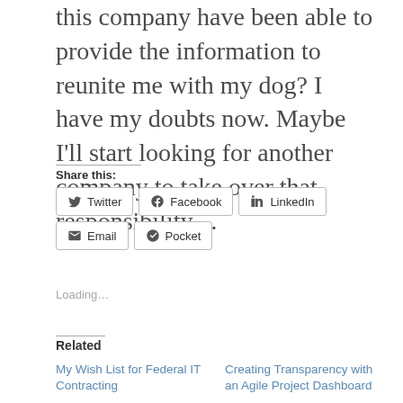this company have been able to provide the information to reunite me with my dog? I have my doubts now. Maybe I'll start looking for another company to take over that responsibility...
Share this:
Twitter | Facebook | LinkedIn | Email | Pocket
Loading...
Related
My Wish List for Federal IT Contracting
Creating Transparency with an Agile Project Dashboard